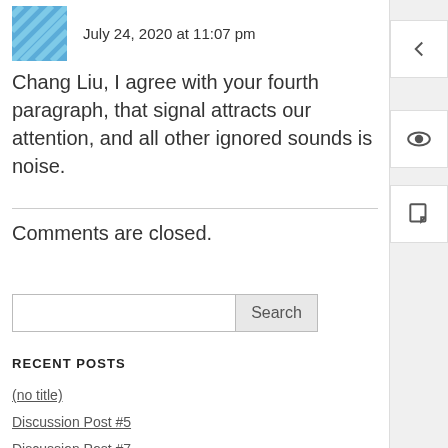July 24, 2020 at 11:07 pm
Chang Liu, I agree with your fourth paragraph, that signal attracts our attention, and all other ignored sounds is noise.
Comments are closed.
RECENT POSTS
(no title)
Discussion Post #5
Discussion Post #7